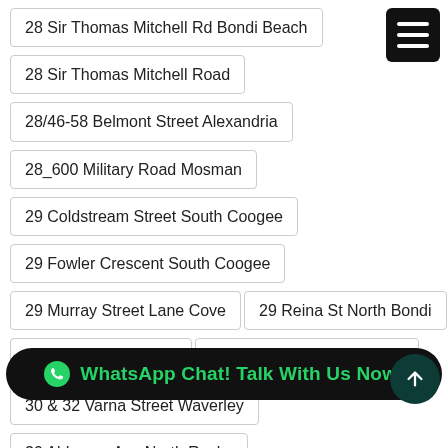28 Sir Thomas Mitchell Rd Bondi Beach
28 Sir Thomas Mitchell Road
28/46-58 Belmont Street Alexandria
28_600 Military Road Mosman
29 Coldstream Street South Coogee
29 Fowler Crescent South Coogee
29 Murray Street Lane Cove
29 Reina St North Bondi
29 Smith Street Ryde
29 Sturt Street Darlinghurst
30 & 32 Varna Street Waverley
30 Alderson Ave North Rocks
30 Anglesea Street Bondi
30 Bolaro Avenue Gyr...
WhatsApp Chat! Talk With Us Now!